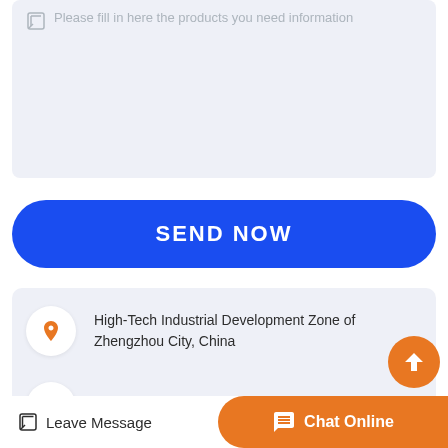Please fill in here the products you need information
SEND NOW
High-Tech Industrial Development Zone of Zhengzhou City, China
query@sinoftm.com
Get Price
Leave Message
Chat Online